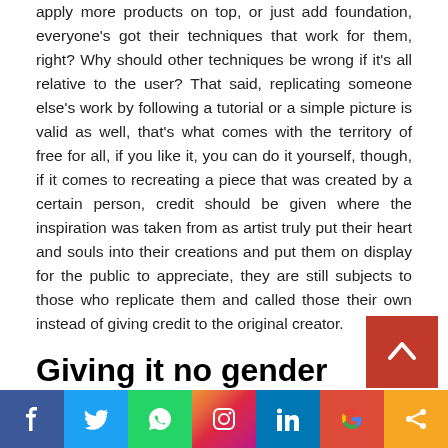apply more products on top, or just add foundation, everyone's got their techniques that work for them, right? Why should other techniques be wrong if it's all relative to the user? That said, replicating someone else's work by following a tutorial or a simple picture is valid as well, that's what comes with the territory of free for all, if you like it, you can do it yourself, though, if it comes to recreating a piece that was created by a certain person, credit should be given where the inspiration was taken from as artist truly put their heart and souls into their creations and put them on display for the public to appreciate, they are still subjects to those who replicate them and called those their own instead of giving credit to the original creator.
Giving it no gender
[Figure (other): Red scroll-to-top button with up chevron arrow]
[Figure (other): Social media sharing bar with Facebook, Twitter, WhatsApp, Instagram, LinkedIn, Google, and Share icons]